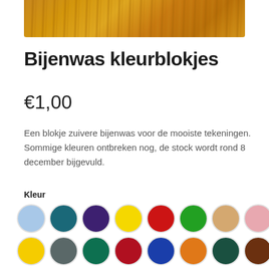[Figure (photo): Wood texture background image at the top of the page]
Bijenwas kleurblokjes
€1,00
Een blokje zuivere bijenwas voor de mooiste tekeningen. Sommige kleuren ontbreken nog, de stock wordt rond 8 december bijgevuld.
Kleur
[Figure (illustration): Color swatches: row 1: light blue, teal, dark purple, yellow, red, green, tan/beige, pink; row 2: yellow, dark grey, dark green, dark red, blue, orange, dark green, brown; row 3 (partial): orange-red, dark blue, dark red/maroon, purple, pink, blue, red]